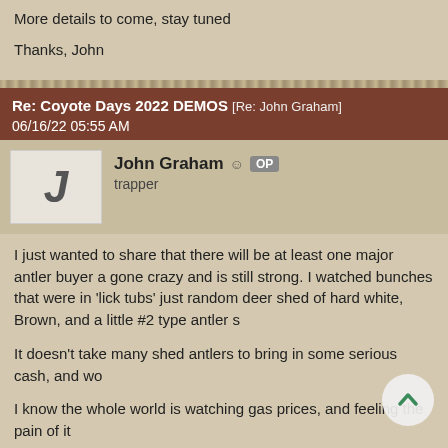More details to come, stay tuned
Thanks, John
Re: Coyote Days 2022 DEMOS [Re: John Graham]
06/16/22 05:55 AM
John Graham ☺ OP
trapper
I just wanted to share that there will be at least one major antler buyer a gone crazy and is still strong. I watched bunches that were in 'lick tubs' just random deer shed of hard white, Brown, and a little #2 type antler s
It doesn't take many shed antlers to bring in some serious cash, and wo
I know the whole world is watching gas prices, and feeling the pain of it
All I can say is that we are going to put on as good as an event as we c informative!